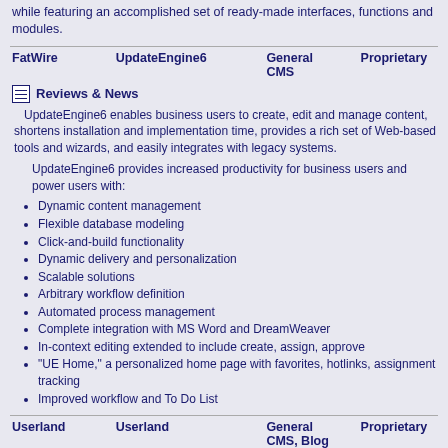while featuring an accomplished set of ready-made interfaces, functions and modules.
| FatWire | UpdateEngine6 | General CMS | Proprietary |
| --- | --- | --- | --- |
Reviews & News
UpdateEngine6 enables business users to create, edit and manage content, shortens installation and implementation time, provides a rich set of Web-based tools and wizards, and easily integrates with legacy systems.
UpdateEngine6 provides increased productivity for business users and power users with:
Dynamic content management
Flexible database modeling
Click-and-build functionality
Dynamic delivery and personalization
Scalable solutions
Arbitrary workflow definition
Automated process management
Complete integration with MS Word and DreamWeaver
In-context editing extended to include create, assign, approve
"UE Home," a personalized home page with favorites, hotlinks, assignment tracking
Improved workflow and To Do List
| Userland | Userland | General CMS, Blog | Proprietary |
| --- | --- | --- | --- |
Reviews & News